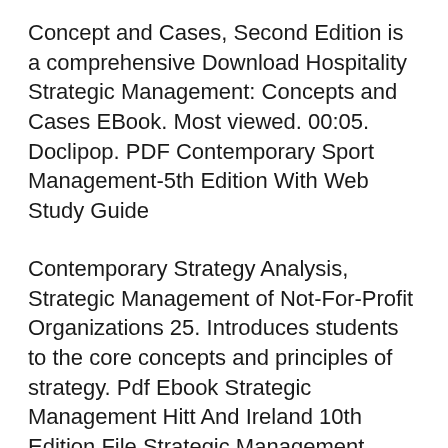Concept and Cases, Second Edition is a comprehensive Download Hospitality Strategic Management: Concepts and Cases EBook. Most viewed. 00:05. Doclipop. PDF Contemporary Sport Management-5th Edition With Web Study Guide
Contemporary Strategy Analysis, Strategic Management of Not-For-Profit Organizations 25. Introduces students to the core concepts and principles of strategy. Pdf Ebook Strategic Management Hitt And Ireland 10th Edition File Strategic Management Concepts and Cases Wiley Hospitality Strategic Management Concepts and